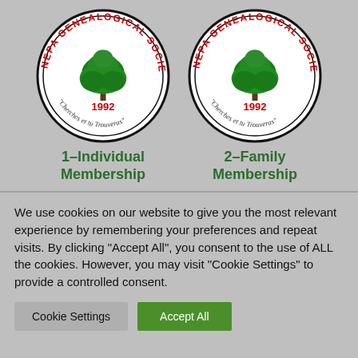[Figure (logo): NEPA Genealogical Society circular seal/logo with a green tree in the center, red text reading 'NEPA GENEALOGICAL SOCIETY' around the top, '1992' in red at bottom center, and italic text 'Cherches et tu Trouveras' along the bottom arc. Black circular border.]
[Figure (logo): NEPA Genealogical Society circular seal/logo (duplicate) with a green tree in the center, red text reading 'NEPA GENEALOGICAL SOCIETY' around the top, '1992' in red at bottom center, and italic text 'Cherches et tu Trouveras' along the bottom arc. Black circular border.]
1–Individual Membership
2–Family Membership
We use cookies on our website to give you the most relevant experience by remembering your preferences and repeat visits. By clicking "Accept All", you consent to the use of ALL the cookies. However, you may visit "Cookie Settings" to provide a controlled consent.
Cookie Settings
Accept All